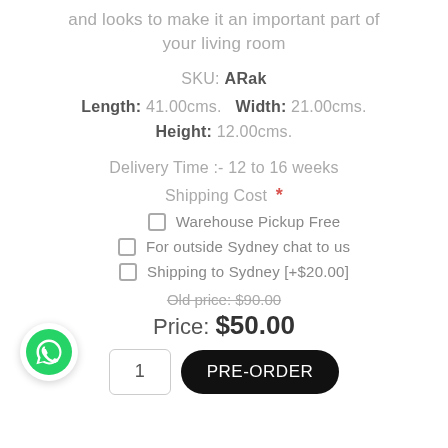and looks to make it an important part of your living room
SKU: ARak
Length: 41.00cms.   Width: 21.00cms.
Height: 12.00cms.
Delivery Time :- 12 to 16 weeks
Shipping Cost *
Warehouse Pickup Free
For outside Sydney chat to us
Shipping to Sydney [+$20.00]
Old price: $90.00
Price: $50.00
[Figure (logo): WhatsApp chat button icon (green circle with phone handset)]
1  PRE-ORDER